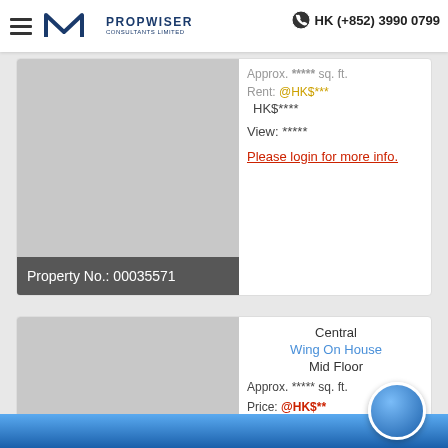Propwiser Consultants Limited — HK (+852) 3990 0799
Approx. ***** sq. ft.
Rent: @HK$*** | HK$****
View: *****
Please login for more info.
Property No.: 00035571
Central
Wing On House
Mid Floor
Approx. ***** sq. ft.
Price: @HK$** | HK$****